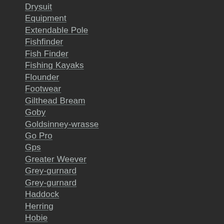Drysuit
Equipment
Extendable Pole
Fishfinder
Fish Finder
Fishing Kayaks
Flounder
Footwear
Gilthead Bream
Goby
Goldsinney-wrasse
Go Pro
Gps
Greater Weever
Grey-gurnard
Grey-gurnard
Haddock
Herring
Hobie